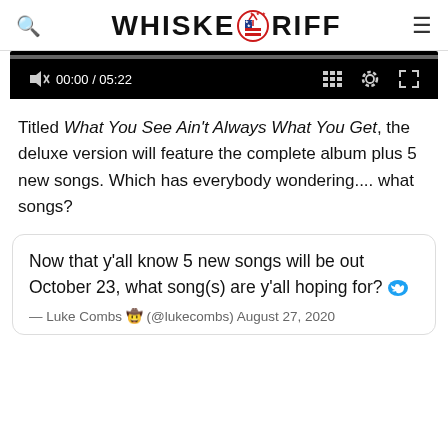WHISKEYRIFF (logo with icon)
[Figure (screenshot): Video player with black background, progress bar, playback controls showing 00:00 / 05:22, grid icon, settings icon, and fullscreen icon]
Titled What You See Ain't Always What You Get, the deluxe version will feature the complete album plus 5 new songs. Which has everybody wondering.... what songs?
Now that y'all know 5 new songs will be out October 23, what song(s) are y'all hoping for? — Luke Combs 🤠 (@lukecombs) August 27, 2020